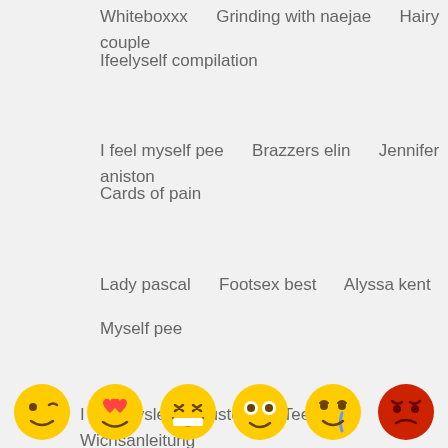Whiteboxxx    Grinding with naejae    Hairy couple
Ifeelyself compilation
I feel myself pee    Brazzers elin    Jennifer aniston
Cards of pain
Lady pascal    Footsex best    Alyssa kent
Myself pee
I feel myslef    Lustery    Teen (18 )    Wichsanleitung
German teen group sex    German anal creampie
Stockings high heels anal gape    Türkisch
[Figure (illustration): Row of emoji faces: winking, heart-eyes, laughing, wide-eyed, crying, angry red face]